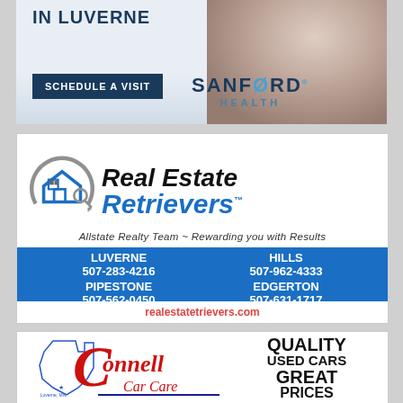[Figure (infographic): Sanford Health advertisement - IN LUVERNE, Schedule a Visit button, Sanford Health logo, photo of mother and baby]
[Figure (infographic): Real Estate Retrievers advertisement - logo with house and key, Allstate Realty Team - Rewarding you with Results, contact info for Luverne 507-283-4216, Hills 507-962-4333, Pipestone 507-562-0450, Edgerton 507-631-1717, realestatertrievers.com]
[Figure (infographic): Connell Car Care advertisement - logo with Minnesota outline and red C script, Quality Used Cars Great Prices]